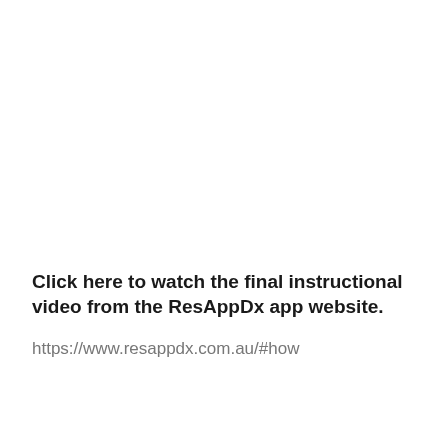Click here to watch the final instructional video from the ResAppDx app website.
https://www.resappdx.com.au/#how